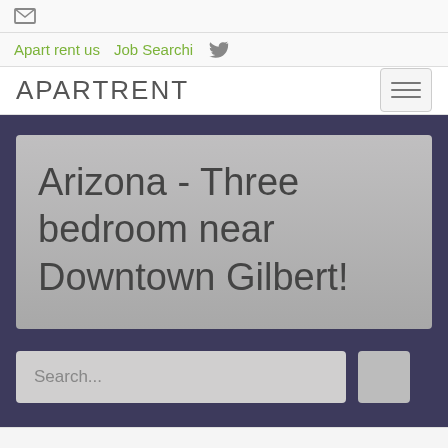[email icon]
Apart rent us  Job Searchi  [twitter icon]
APARTRENT  [menu icon]
Arizona - Three bedroom near Downtown Gilbert!
Search...